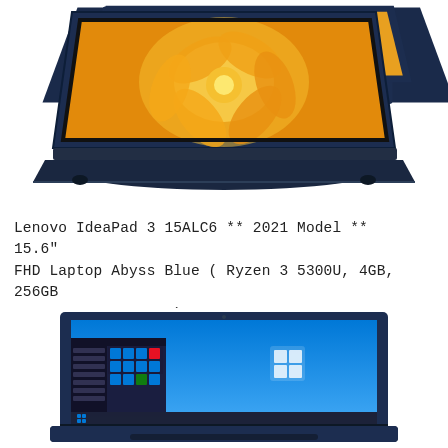[Figure (photo): Top-down view of a dark navy blue Lenovo IdeaPad laptop partially open, showing a floral yellow/orange wallpaper on the screen, viewed from above at an angle. Only the top portion of the laptop is visible.]
Lenovo IdeaPad 3 15ALC6 ** 2021 Model ** 15.6" FHD Laptop Abyss Blue ( Ryzen 3 5300U, 4GB, 256GB SSD, ATI, W10, HS )
[Figure (photo): Front view of a dark navy blue Lenovo IdeaPad laptop open, showing a Windows 10 desktop with a blue sky wallpaper and the Start menu partially open on the left side of the screen.]